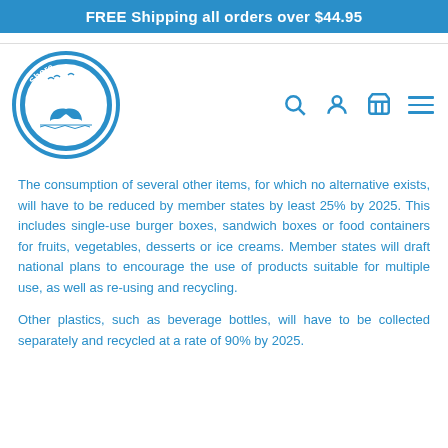FREE Shipping all orders over $44.95
[Figure (logo): Shore Buddies circular logo with whale tail and seagulls, blue and white colors]
The consumption of several other items, for which no alternative exists, will have to be reduced by member states by least 25% by 2025. This includes single-use burger boxes, sandwich boxes or food containers for fruits, vegetables, desserts or ice creams. Member states will draft national plans to encourage the use of products suitable for multiple use, as well as re-using and recycling.
Other plastics, such as beverage bottles, will have to be collected separately and recycled at a rate of 90% by 2025.